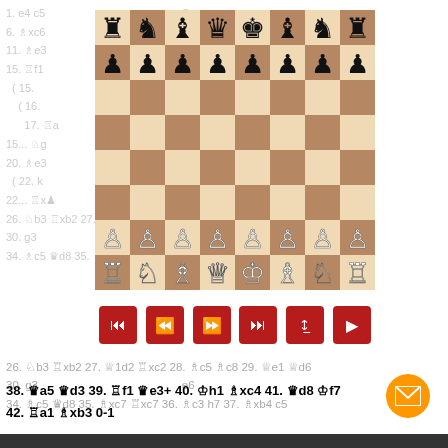[Figure (other): Chess board diagram showing a mid-game position with black pieces on ranks 7-8 and white pieces on ranks 1-2. Black has rook, knight, bishop, queen, king, bishop, knight, rook on rank 8 and pawns on rank 7. White has pawns on rank 2 and rook, knight, bishop, queen, king, bishop, knight, rook on rank 1.]
[Figure (other): Navigation control bar with 6 dark red buttons: skip-to-start, rewind, fast-forward, skip-to-end, flip-board, play]
1. e4 c5 ... e5 6. Axc6 ... xc4 Ae7 11. Ae3 ... c7 15. Rf1 ( 15. ( 16. 17. Ra 15... Ag6 ... Ag5 f6 20. Ae3 ( 22. k 22... Rxe 26. Ab3 Rxb2 27. O1d2 Rxc2 28. Ac5 Ac8 29. We1 Wd6 30. g3 ... e6 34. Ac5 Qd8 35. Axc7 Rxc7 36. Ac3 h7 37. Axb4 c5
38. ♛a5 ♛d3 39. ♖f1 ♛e3+ 40. ♔h1 ♗xc4 41. ♛d8 ♔f7 42. ♖a1 ♗xb3 0-1